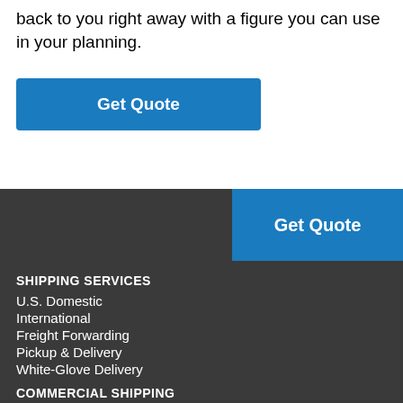back to you right away with a figure you can use in your planning.
Get Quote
Get Quote
SHIPPING SERVICES
U.S. Domestic
International
Freight Forwarding
Pickup & Delivery
White-Glove Delivery
COMMERCIAL SHIPPING